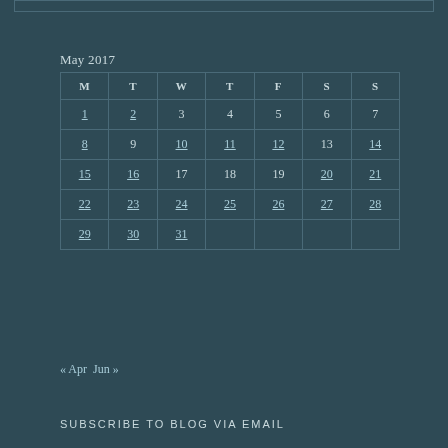May 2017
| M | T | W | T | F | S | S |
| --- | --- | --- | --- | --- | --- | --- |
| 1 | 2 | 3 | 4 | 5 | 6 | 7 |
| 8 | 9 | 10 | 11 | 12 | 13 | 14 |
| 15 | 16 | 17 | 18 | 19 | 20 | 21 |
| 22 | 23 | 24 | 25 | 26 | 27 | 28 |
| 29 | 30 | 31 |  |  |  |  |
« Apr  Jun »
SUBSCRIBE TO BLOG VIA EMAIL